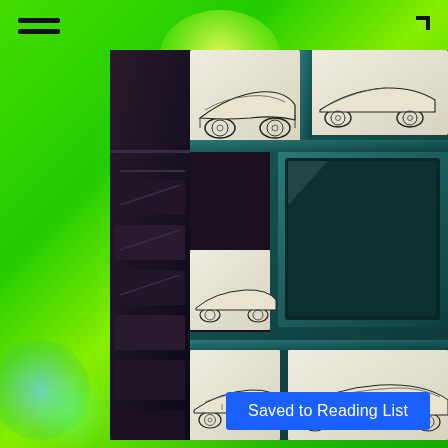[Figure (illustration): A screenshot of a mobile app or web page showing a collage-style image of futuristic car sketches and 3D renders arranged in a mosaic/grid pattern against a dark teal background. The page background is bright green with yellow bokeh light effects. A hamburger menu icon is in the top-left corner, and a corner bracket icon is in the top-right. A blue 'Saved to Reading List' notification banner appears at the bottom right.]
Saved to Reading List